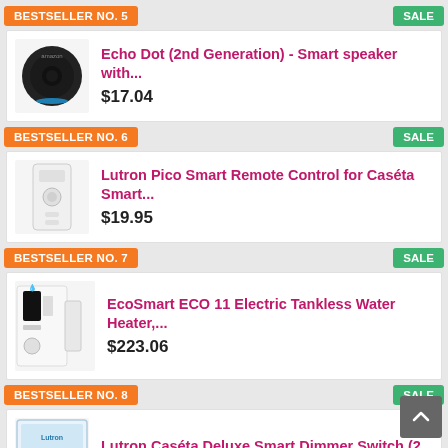BESTSELLER NO. 5
SALE
[Figure (photo): Echo Dot 2nd generation smart speaker, black cylindrical device]
Echo Dot (2nd Generation) - Smart speaker with...
$17.04
BESTSELLER NO. 6
SALE
[Figure (photo): Lutron Pico smart remote control, white rectangular device]
Lutron Pico Smart Remote Control for Caséta Smart...
$19.95
BESTSELLER NO. 7
SALE
[Figure (photo): EcoSmart ECO 11 electric tankless water heater, white box device]
EcoSmart ECO 11 Electric Tankless Water Heater,...
$223.06
BESTSELLER NO. 8
SALE
[Figure (photo): Lutron Caséta Deluxe Smart Dimmer Switch product box]
Lutron Caséta Deluxe Smart Dimmer Switch (2...
$169.90